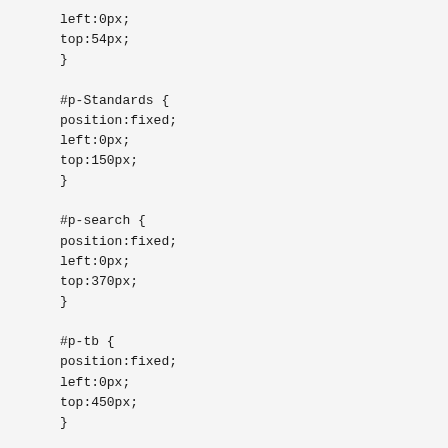left:0px;
top:54px;
}

#p-Standards {
position:fixed;
left:0px;
top:150px;
}

#p-search {
position:fixed;
left:0px;
top:370px;
}

#p-tb {
position:fixed;
left:0px;
top:450px;
}


*/